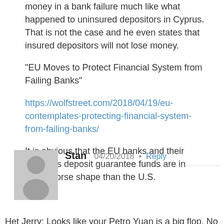money in a bank failure much like what happened to uninsured depositors in Cyprus. That is not the case and he even states that insured depositors will not lose money.
“EU Moves to Protect Financial System from Failing Banks”
https://wolfstreet.com/2018/04/19/eu-contemplates-protecting-financial-system-from-failing-banks/
It is obvious that the EU banks and their countries deposit guarantee funds are in much worse shape than the U.S.
[Figure (illustration): Gray avatar placeholder image showing a silhouette of a person]
Stan  04/20/2018 · Reply
Het Jerry: Looks like your Petro Yuan is a big flop. No crash or turmoil as you predicted.